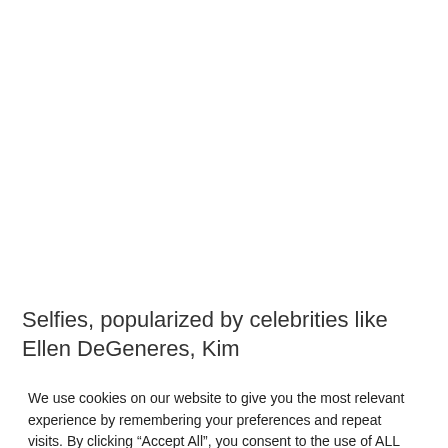Selfies, popularized by celebrities like Ellen DeGeneres, Kim
We use cookies on our website to give you the most relevant experience by remembering your preferences and repeat visits. By clicking “Accept All”, you consent to the use of ALL the cookies. However, you may visit "Cookie Settings" to provide a controlled consent.
Cookie Settings
Accept All